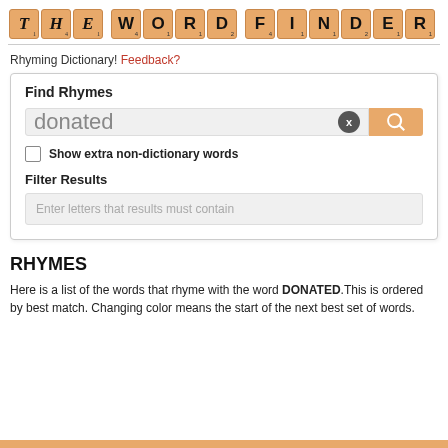THE WORD FINDER
Rhyming Dictionary! Feedback?
Find Rhymes
donated
Show extra non-dictionary words
Filter Results
Enter letters that results must contain
RHYMES
Here is a list of the words that rhyme with the word DONATED. This is ordered by best match. Changing color means the start of the next best set of words.